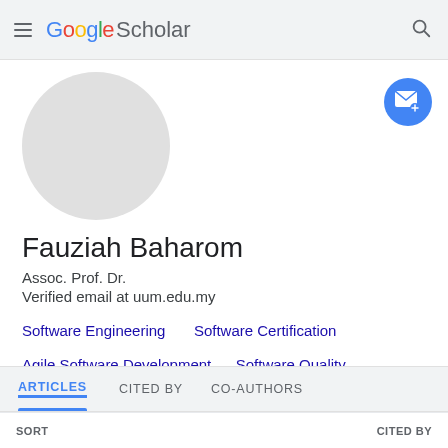Google Scholar
[Figure (photo): Circular grey placeholder avatar image for Fauziah Baharom]
Fauziah Baharom
Assoc. Prof. Dr.
Verified email at uum.edu.my
Software Engineering
Software Certification
Agile Software Development
Software Quality
Sustainable Development
ARTICLES   CITED BY   CO-AUTHORS
SORT   CITED BY